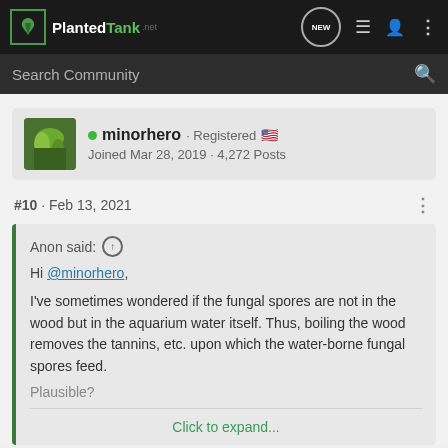PlantedTank · NEW
Search Community
minorhero · Registered
Joined Mar 28, 2019 · 4,272 Posts
#10 · Feb 13, 2021
Anon said: ↑
Hi @minorhero,

I've sometimes wondered if the fungal spores are not in the wood but in the aquarium water itself. Thus, boiling the wood removes the tannins, etc. upon which the water-borne fungal spores feed.
Plausible?

Click to expand...